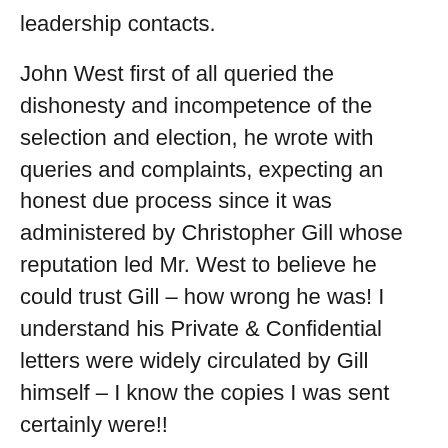leadership contacts.
John West first of all queried the dishonesty and incompetence of the selection and election, he wrote with queries and complaints, expecting an honest due process since it was administered by Christopher Gill whose reputation led Mr. West to believe he could trust Gill – how wrong he was! I understand his Private & Confidential letters were widely circulated by Gill himself – I know the copies I was sent certainly were!!
Gill's behaviour was beneath contempt as was almost every aspect of the corrupt process.
Those in doubt need go no further than to read EUkip's own appointed Returning Officer's report, which I have widely circulated and will be on this blog when I get time to